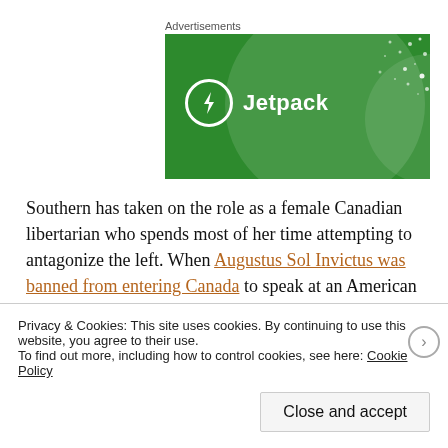Advertisements
[Figure (illustration): Jetpack advertisement banner: green background with circular light overlay shapes and scattered dot pattern. Jetpack logo (white circle with lightning bolt icon) and 'Jetpack' text in white on the left side.]
Southern has taken on the role as a female Canadian libertarian who spends most of her time attempting to antagonize the left. When Augustus Sol Invictus was banned from entering Canada to speak at an American Front event,
Privacy & Cookies: This site uses cookies. By continuing to use this website, you agree to their use.
To find out more, including how to control cookies, see here: Cookie Policy
Close and accept